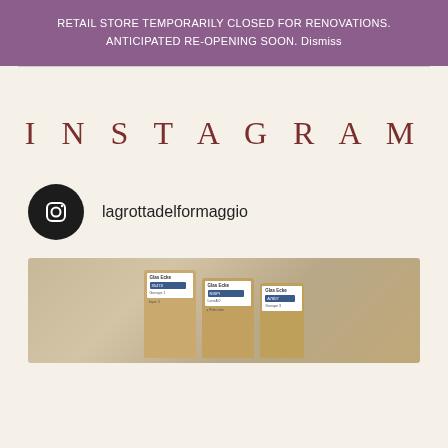RETAIL STORE TEMPORARILY CLOSED FOR RENOVATIONS. ANTICIPATED RE-OPENING SOON. Dismiss
INSTAGRAM
lagrottadelformaggio
[Figure (photo): Photo of multiple brown kraft paper bags with white and blue label tags, arranged in a row, partially cropped at the bottom of the page]